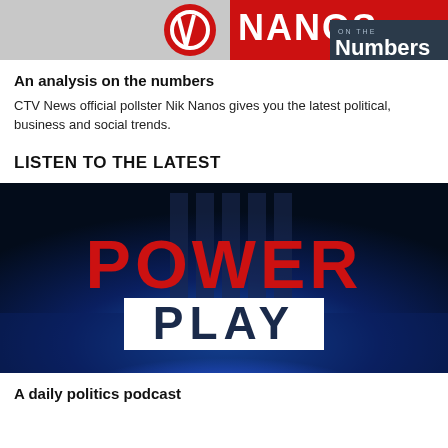[Figure (logo): Nanos On The Numbers logo with red circular CTV icon and dark navy badge reading ON THE Numbers]
An analysis on the numbers
CTV News official pollster Nik Nanos gives you the latest political, business and social trends.
LISTEN TO THE LATEST
[Figure (photo): Power Play podcast logo: dark blue background with large red POWER text above a white rectangle containing dark blue PLAY text]
A daily politics podcast